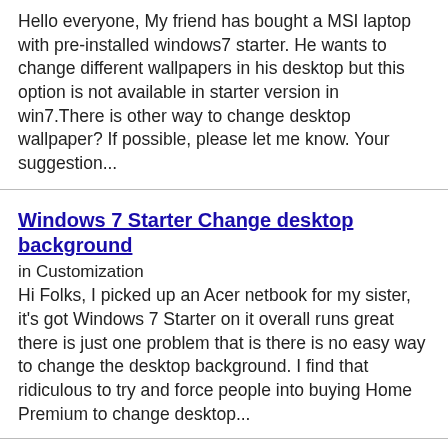Hello everyone, My friend has bought a MSI laptop with pre-installed windows7 starter. He wants to change different wallpapers in his desktop but this option is not available in starter version in win7.There is other way to change desktop wallpaper? If possible, please let me know. Your suggestion...
Windows 7 Starter Change desktop background
in Customization
Hi Folks, I picked up an Acer netbook for my sister, it's got Windows 7 Starter on it overall runs great there is just one problem that is there is no easy way to change the desktop background. I find that ridiculous to try and force people into buying Home Premium to change desktop...
Asus Netbook: Windows Starter: Change Wallpaper
in Customization
Hello, i was wondering if there are any programs out